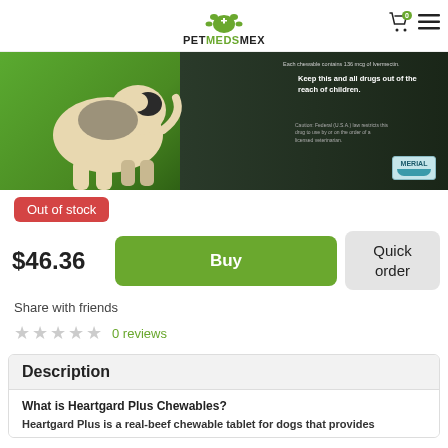PETMEDSMEX
[Figure (photo): Product photo showing a dog on a green background next to Heartgard Plus packaging with Merial branding and text about ivermectin chewables]
Out of stock
$46.36
Buy
Quick order
Share with friends
0 reviews
Description
What is Heartgard Plus Chewables?
Heartgard Plus is a real-beef chewable tablet for dogs that provides